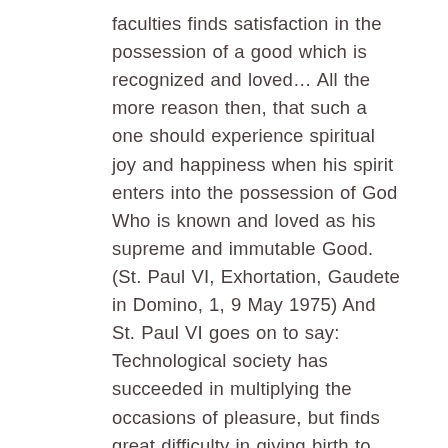faculties finds satisfaction in the possession of a good which is recognized and loved… All the more reason then, that such a one should experience spiritual joy and happiness when his spirit enters into the possession of God Who is known and loved as his supreme and immutable Good. (St. Paul VI, Exhortation, Gaudete in Domino, 1, 9 May 1975) And St. Paul VI goes on to say: Technological society has succeeded in multiplying the occasions of pleasure, but finds great difficulty in giving birth to happiness. For happiness has its origin elsewhere: it is a spiritual thing. Money, comfort, hygiene, material security, etc., may often not be lacking, but nevertheless, despite these advantages, boredom, suffering and sadness are